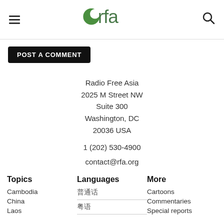RFA - Radio Free Asia navigation header
POST A COMMENT
Radio Free Asia
2025 M Street NW
Suite 300
Washington, DC
20036 USA
1 (202) 530-4900
contact@rfa.org
Topics
Cambodia
China
Laos
Languages
普通话
粤语
More
Cartoons
Commentaries
Special reports